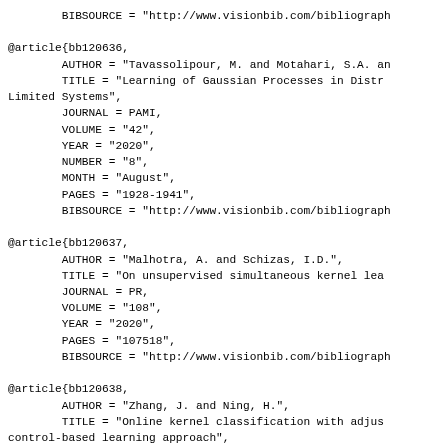BIBSOURCE = "http://www.visionbib.com/bibliograph
@article{bb120636,
        AUTHOR = "Tavassolipour, M. and Motahari, S.A. an
        TITLE = "Learning of Gaussian Processes in Distr
Limited Systems",
        JOURNAL = PAMI,
        VOLUME = "42",
        YEAR = "2020",
        NUMBER = "8",
        MONTH = "August",
        PAGES = "1928-1941",
        BIBSOURCE = "http://www.visionbib.com/bibliograph
@article{bb120637,
        AUTHOR = "Malhotra, A. and Schizas, I.D.",
        TITLE = "On unsupervised simultaneous kernel lea
        JOURNAL = PR,
        VOLUME = "108",
        YEAR = "2020",
        PAGES = "107518",
        BIBSOURCE = "http://www.visionbib.com/bibliograph
@article{bb120638,
        AUTHOR = "Zhang, J. and Ning, H.",
        TITLE = "Online kernel classification with adjus
control-based learning approach",
        JOURNAL = PR,
        VOLUME = "108",
        YEAR = "2020",
        PAGES = "107566",